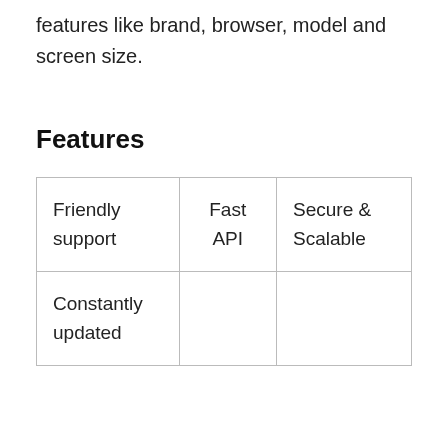features like brand, browser, model and screen size.
Features
| Friendly support | Fast API | Secure & Scalable |
| Constantly updated |  |  |